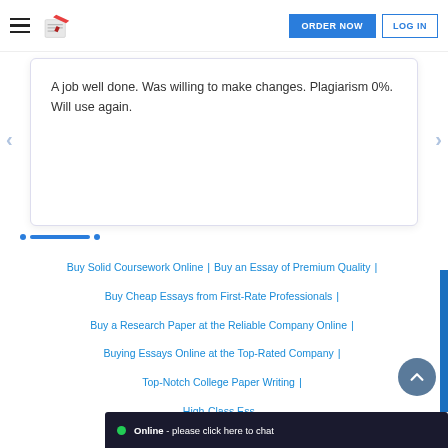ORDER NOW | LOG IN
A job well done. Was willing to make changes. Plagiarism 0%. Will use again.
Buy Solid Coursework Online | Buy an Essay of Premium Quality | Buy Cheap Essays from First-Rate Professionals | Buy a Research Paper at the Reliable Company Online | Buying Essays Online at the Top-Rated Company | Top-Notch College Paper Writing | High-Class Ess...
Online - please click here to chat